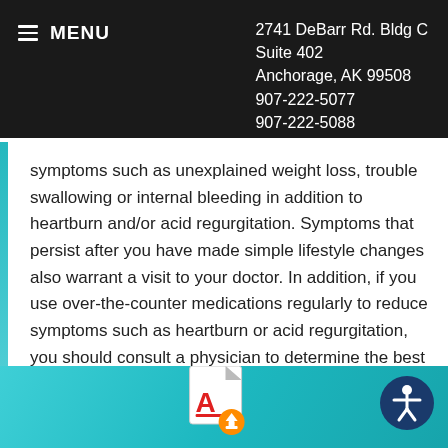MENU | 2741 DeBarr Rd. Bldg C Suite 402 Anchorage, AK 99508 907-222-5077 907-222-5088
symptoms such as unexplained weight loss, trouble swallowing or internal bleeding in addition to heartburn and/or acid regurgitation. Symptoms that persist after you have made simple lifestyle changes also warrant a visit to your doctor. In addition, if you use over-the-counter medications regularly to reduce symptoms such as heartburn or acid regurgitation, you should consult a physician to determine the best course of treatment for you.
[Figure (other): PDF download icon with red Adobe Acrobat logo and orange/yellow download arrow badge, and a circular accessibility icon on the right with navy blue background showing a person symbol]